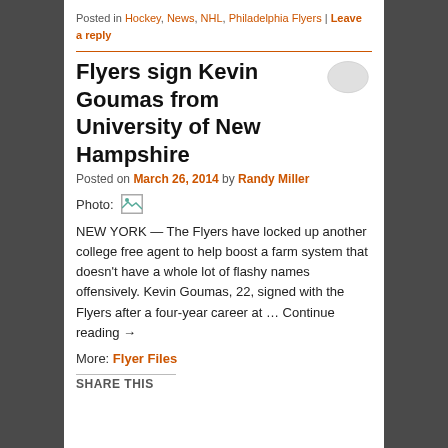Posted in Hockey, News, NHL, Philadelphia Flyers | Leave a reply
Flyers sign Kevin Goumas from University of New Hampshire
Posted on March 26, 2014 by Randy Miller
[Figure (photo): Small broken/placeholder image icon next to 'Photo:' label]
NEW YORK — The Flyers have locked up another college free agent to help boost a farm system that doesn't have a whole lot of flashy names offensively. Kevin Goumas, 22, signed with the Flyers after a four-year career at … Continue reading →
More: Flyer Files